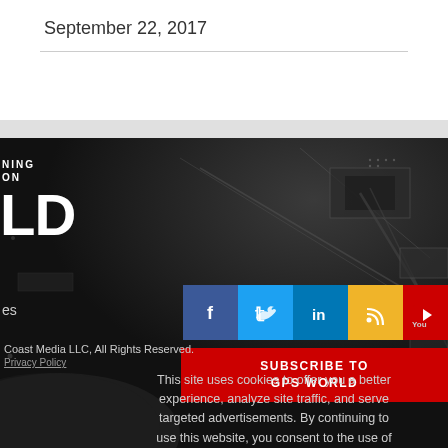September 22, 2017
[Figure (screenshot): GPS World website footer with dark satellite background, partial logo text 'LD', social media icons (Facebook, Twitter, LinkedIn, RSS, YouTube), a Subscribe button, copyright notice, privacy policy link, and cookie notice text.]
Coast Media LLC, All Rights Reserved.
Privacy Policy
This site uses cookies to offer you a better experience, analyze site traffic, and serve targeted advertisements. By continuing to use this website, you consent to the use of
SUBSCRIBE TO
GPS WORLD